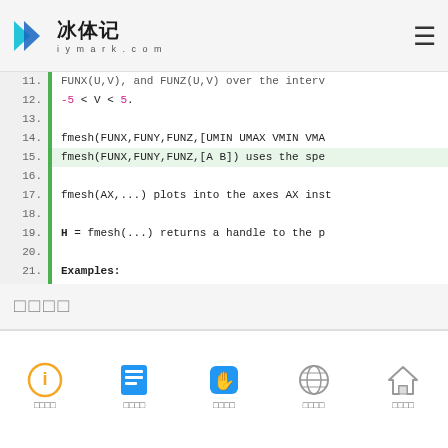iymark.com — navigation header with logo and hamburger menu
Code listing lines 11–23 showing fmesh function documentation
□□□□
Bottom navigation bar with 5 icons